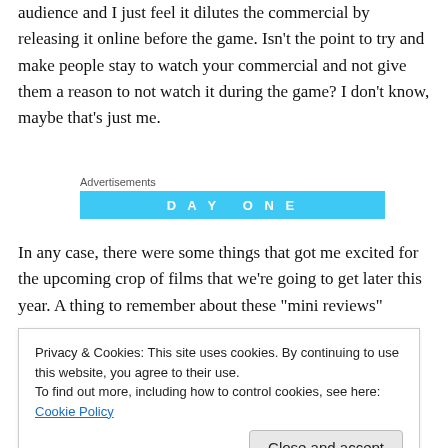audience and I just feel it dilutes the commercial by releasing it online before the game. Isn't the point to try and make people stay to watch your commercial and not give them a reason to not watch it during the game? I don't know, maybe that's just me.
Advertisements
[Figure (other): Blue advertisement banner with text DAY ONE]
In any case, there were some things that got me excited for the upcoming crop of films that we're going to get later this year. A thing to remember about these "mini reviews"
Privacy & Cookies: This site uses cookies. By continuing to use this website, you agree to their use.
To find out more, including how to control cookies, see here: Cookie Policy
Close and accept